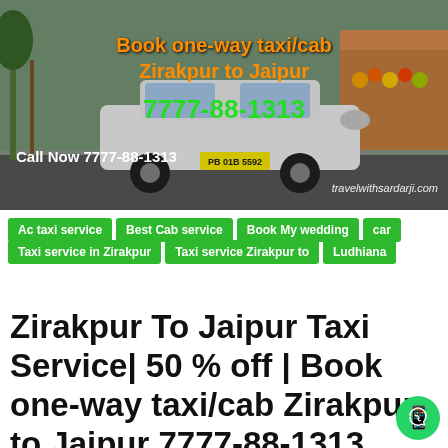[Figure (photo): Photo of a white Toyota Innova taxi cab on a street with market stalls in background, overlaid with promotional text for Zirakpur to Jaipur taxi service]
Ac taxi service
Best Cab service
Book My wedding car
Taxi service in Zirakpur
Taxi service Zirakpur to Ludhiana
Zirakpur To Jaipur Taxi Service| 50 % off | Book one-way taxi/cab Zirakpur to Jaipur 7777-88-1313